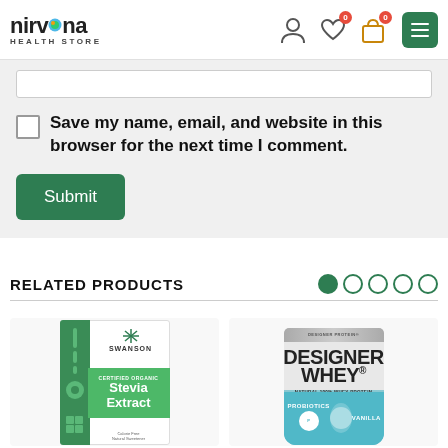nirvana HEALTH STORE
Save my name, email, and website in this browser for the next time I comment.
Submit
RELATED PRODUCTS
[Figure (photo): Swanson Certified Organic Stevia Extract product box]
[Figure (photo): Designer Whey Natural 100% Whey Protein Powder with Probiotics, Vanilla flavor]